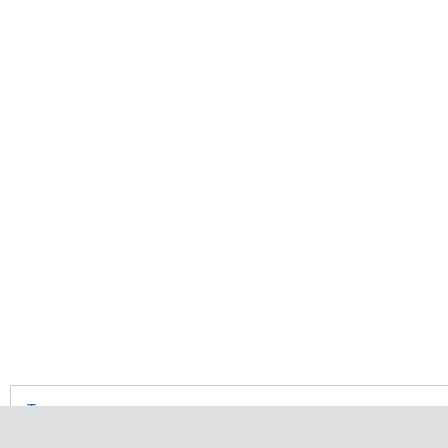where the bilinear form as
Let  be a function in
an obstacle
a regular function
AM and a nonemp
Top
ABSTRACT